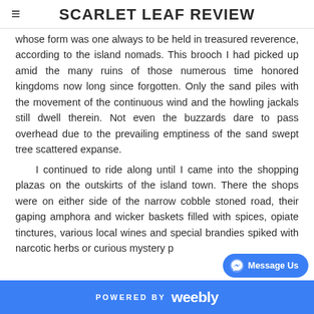SCARLET LEAF REVIEW
whose form was one always to be held in treasured reverence, according to the island nomads. This brooch I had picked up amid the many ruins of those numerous time honored kingdoms now long since forgotten. Only the sand piles with the movement of the continuous wind and the howling jackals still dwell therein. Not even the buzzards dare to pass overhead due to the prevailing emptiness of the sand swept tree scattered expanse.
I continued to ride along until I came into the shopping plazas on the outskirts of the island town. There the shops were on either side of the narrow cobble stoned road, their gaping amphora and wicker baskets filled with spices, opiate tinctures, various local wines and special brandies spiked with narcotic herbs or curious mystery p…
POWERED BY weebly